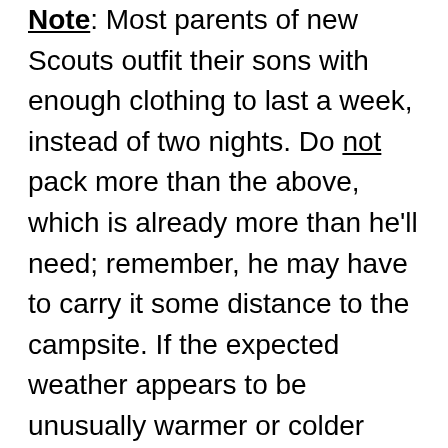Note: Most parents of new Scouts outfit their sons with enough clothing to last a week, instead of two nights. Do not pack more than the above, which is already more than he'll need; remember, he may have to carry it some distance to the campsite. If the expected weather appears to be unusually warmer or colder than normal (keeping in mind that the local camping areas are typically about 5 – 10 degrees cooler than Baltimore), make appropriate deletions and substitutions call the SPL if you have any questions.  Don't bother packing cleaning gear other than a toothbrush – it won't get used, period. Make sure everything has his name and T 456 marked on it. Pack nothing